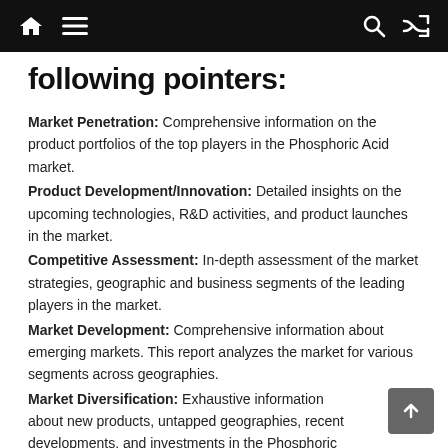Navigation bar with home, menu, search, and shuffle icons
following pointers:
Market Penetration: Comprehensive information on the product portfolios of the top players in the Phosphoric Acid market.
Product Development/Innovation: Detailed insights on the upcoming technologies, R&D activities, and product launches in the market.
Competitive Assessment: In-depth assessment of the market strategies, geographic and business segments of the leading players in the market.
Market Development: Comprehensive information about emerging markets. This report analyzes the market for various segments across geographies.
Market Diversification: Exhaustive information about new products, untapped geographies, recent developments, and investments in the Phosphoric Acid market.